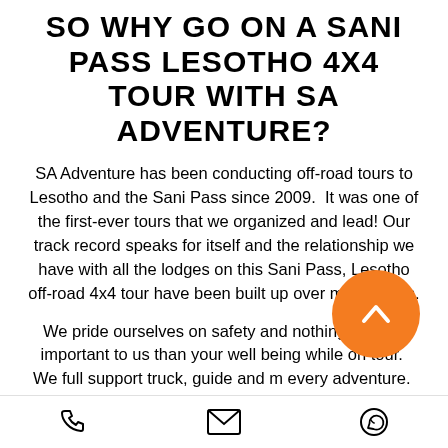SO WHY GO ON A SANI PASS LESOTHO 4X4 TOUR WITH SA ADVENTURE?
SA Adventure has been conducting off-road tours to Lesotho and the Sani Pass since 2009.  It was one of the first-ever tours that we organized and lead! Our track record speaks for itself and the relationship we have with all the lodges on this Sani Pass, Lesotho off-road 4x4 tour have been built up over many years.
We pride ourselves on safety and nothing is more important to us than your well being while on tour.  We full support truck, guide and m every adventure.  You can relax on your journey, and know that SA Adventure has taken care of all the details to make
[phone icon] [email icon] [whatsapp icon]